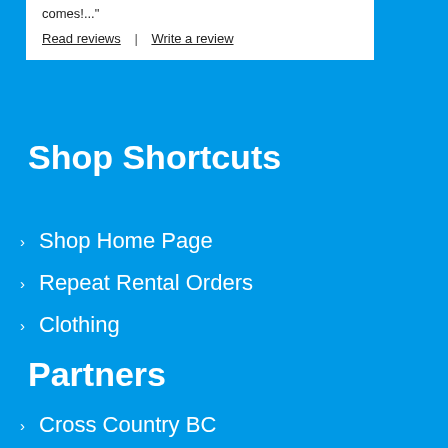comes!..."
Read reviews | Write a review
Shop Shortcuts
Shop Home Page
Repeat Rental Orders
Clothing
Partners
Cross Country BC
Nordiq Canada
Rec Sites & Trails BC